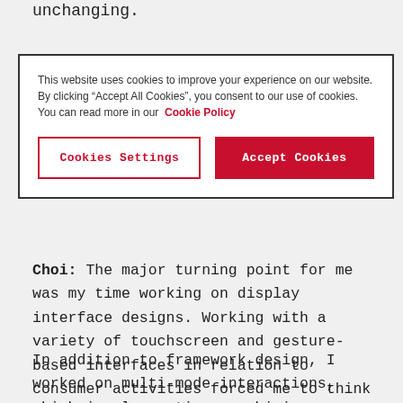unchanging.
This website uses cookies to improve your experience on our website. By clicking “Accept All Cookies”, you consent to our use of cookies. You can read more in our Cookie Policy
Choi: The major turning point for me was my time working on display interface designs. Working with a variety of touchscreen and gesture-based interfaces in relation to consumer activities forced me to think about things I hadn’t considered much before.
In addition to framework design, I worked on multi-mode interactions, which involve actions combining gestures and sounds, as well as the development of technologies